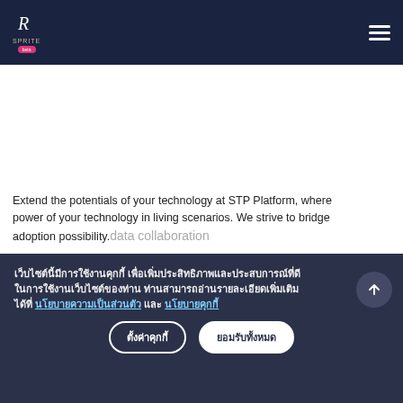STP Platform — Header navigation bar with logo and hamburger menu
Extend the potentials of your technology at STP Platform, where power of your technology in living scenarios. We strive to bridge adoption possibility.data collaboration
เว็บไซต์นี้มีการใช้งานคุกกี้ เพื่อเพิ่มประสิทธิภาพและประสบการณ์ที่ดีในการใช้งานเว็บไซต์ของท่าน ท่านสามารถอ่านรายละเอียดเพิ่มเติมได้ที่ นโยบายความเป็นส่วนตัว และ นโยบายคุกกี้
ตั้งค่าคุกกี้
ยอมรับทั้งหมด